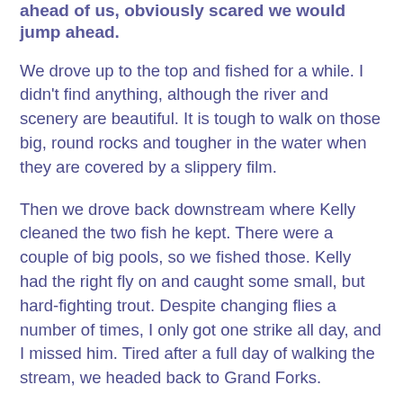ahead of us, obviously scared we would jump ahead.
We drove up to the top and fished for a while. I didn't find anything, although the river and scenery are beautiful. It is tough to walk on those big, round rocks and tougher in the water when they are covered by a slippery film.
Then we drove back downstream where Kelly cleaned the two fish he kept. There were a couple of big pools, so we fished those. Kelly had the right fly on and caught some small, but hard-fighting trout. Despite changing flies a number of times, I only got one strike all day, and I missed him. Tired after a full day of walking the stream, we headed back to Grand Forks.
As we were having drinks and getting dinner ready, we noticed a crowd over at a dirt bike track in this municipal park. We walked over, finding kids of all ages, dressed in all kinds bicycle gear and helmets, mothers and fathers...